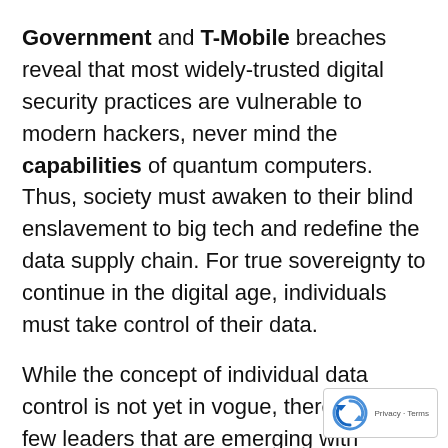Government and T-Mobile breaches reveal that most widely-trusted digital security practices are vulnerable to modern hackers, never mind the capabilities of quantum computers. Thus, society must awaken to their blind enslavement to big tech and redefine the data supply chain. For true sovereignty to continue in the digital age, individuals must take control of their data.
While the concept of individual data control is not yet in vogue, there are a few leaders that are emerging with technologies and platforms to empower personal data sovereignty. One of these leaders is cryptography solutions provider Crown Sterling, who is putting data
[Figure (logo): reCAPTCHA badge with circular arrow logo and 'Privacy - Terms' text]